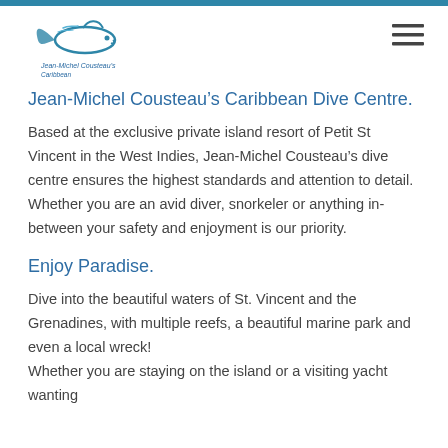[Figure (logo): Jean-Michel Cousteau Caribbean Dive Centre logo with fish/dolphin graphic]
Jean-Michel Cousteau’s Caribbean Dive Centre.
Based at the exclusive private island resort of Petit St Vincent in the West Indies, Jean-Michel Cousteau’s dive centre ensures the highest standards and attention to detail. Whether you are an avid diver, snorkeler or anything in-between your safety and enjoyment is our priority.
Enjoy Paradise.
Dive into the beautiful waters of St. Vincent and the Grenadines, with multiple reefs, a beautiful marine park and even a local wreck!
Whether you are staying on the island or a visiting yacht wanting